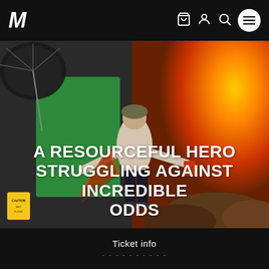M (logo) with navigation icons: cart, account, search, menu
[Figure (photo): A person wearing a helmet and grey t-shirt crouching in an action pose on a film set, with a green screen background on the left and a composited explosion/fire scene on the right, alongside a studio umbrella light and a wet floor caution sign]
A RESOURCEFUL HERO STRUGGLING AGAINST INCREDIBLE ODDS
Ticket info